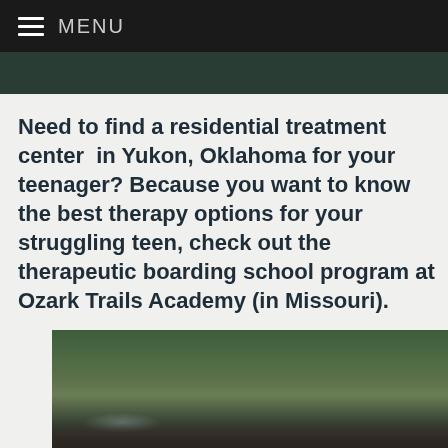MENU
Need to find a residential treatment center  in Yukon, Oklahoma for your teenager? Because you want to know the best therapy options for your struggling teen, check out the therapeutic boarding school program at Ozark Trails Academy (in Missouri).
[Figure (photo): Outdoor photo showing kayakers on a river with green hilly terrain in the background]